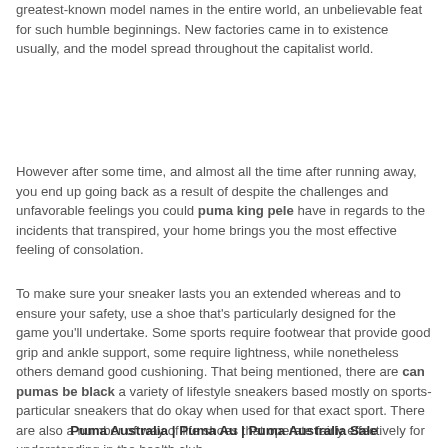greatest-known model names in the entire world, an unbelievable feat for such humble beginnings. New factories came in to existence usually, and the model spread throughout the capitalist world.
However after some time, and almost all the time after running away, you end up going back as a result of despite the challenges and unfavorable feelings you could puma king pele have in regards to the incidents that transpired, your home brings you the most effective feeling of consolation.
To make sure your sneaker lasts you an extended whereas and to ensure your safety, use a shoe that's particularly designed for the game you'll undertake. Some sports require footwear that provide good grip and ankle support, some require lightness, while nonetheless others demand good cushioning. That being mentioned, there are can pumas be black a variety of lifestyle sneakers based mostly on sports-particular sneakers that do okay when used for that exact sport. There are also a number of way of life shoes that operate fairly effectively for understanding in the health club.
Puma Australia | Puma Au | Puma Australia Sale